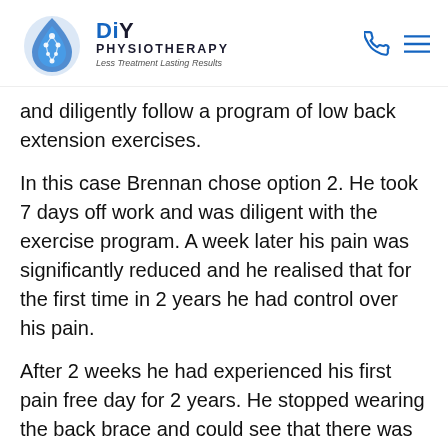[Figure (logo): DIY Physiotherapy logo with blue droplet/spine icon and text 'DiY PHYSIOTHERAPY - Less Treatment Lasting Results']
and diligently follow a program of low back extension exercises.
In this case Brennan chose option 2. He took 7 days off work and was diligent with the exercise program. A week later his pain was significantly reduced and he realised that for the first time in 2 years he had control over his pain.
After 2 weeks he had experienced his first pain free day for 2 years. He stopped wearing the back brace and could see that there was light